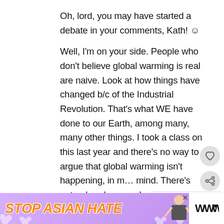Oh, lord, you may have started a debate in your comments, Kath! ☺
Well, I'm on your side. People who don't believe global warming is real are naive. Look at how things have changed b/c of the Industrial Revolution. That's what WE have done to our Earth, among many, many other things. I took a class on this last year and there's no way to argue that global warming isn't happening, in my mind. There's natural cycles, yes, but... directly changed that natural course and.
[Figure (screenshot): What's Next widget showing thumbnail and text 'Convenient Clouds']
[Figure (infographic): Ad banner reading STOP ASIAN HATE with purple floral background and cartoon figure]